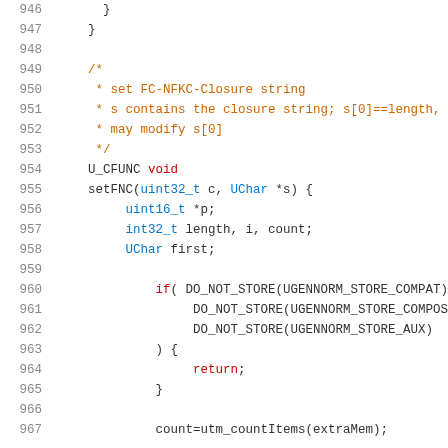Source code listing lines 946-967, C/C++ code showing setFNC function implementation with comments about FC-NFKC-Closure string
[Figure (screenshot): C source code with line numbers 946-967 showing a function setFNC that sets FC-NFKC-Closure string, with variable declarations and conditional checks]